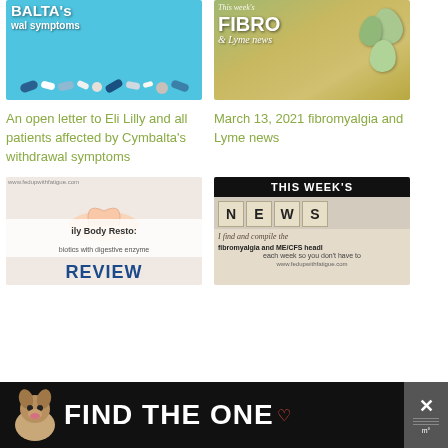[Figure (photo): Pills and capsules on blue background with CYMBALTA withdrawal symptoms text overlay]
[Figure (photo): Eggs in nest on decorative background with 'This week's FIBRO & Lyme news' text overlay]
An open letter to Eli Lilly and all patients affected by Cymbalta's withdrawal symptoms
March 13, 2021 fibromyalgia and Lyme news
[Figure (photo): Hands forming heart shape, daily body restore review with probiotics and digestive enzymes]
[Figure (photo): This week's news scrabble tiles with fibromyalgia and ME/CFS headlines text]
[Figure (photo): Advertisement banner: Find the One - dog adoption ad with close button]